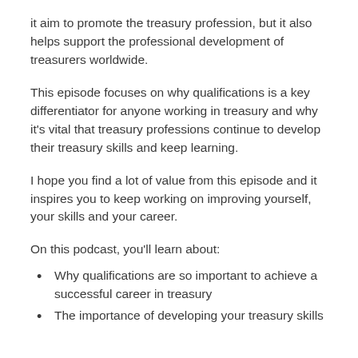it aim to promote the treasury profession, but it also helps support the professional development of treasurers worldwide.
This episode focuses on why qualifications is a key differentiator for anyone working in treasury and why it's vital that treasury professions continue to develop their treasury skills and keep learning.
I hope you find a lot of value from this episode and it inspires you to keep working on improving yourself, your skills and your career.
On this podcast, you'll learn about:
Why qualifications are so important to achieve a successful career in treasury
The importance of developing your treasury skills